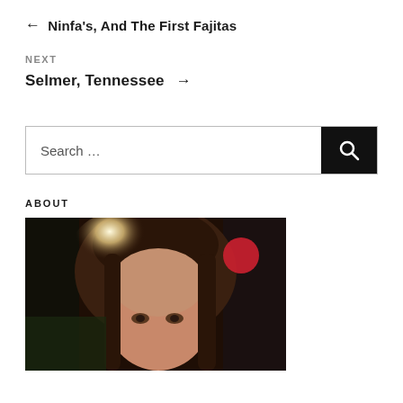← Ninfa's, And The First Fajitas
NEXT
Selmer, Tennessee →
Search ...
ABOUT
[Figure (photo): Close-up photo of a woman with brown hair, a bright light flare behind her head, and a red element visible in the background upper right.]